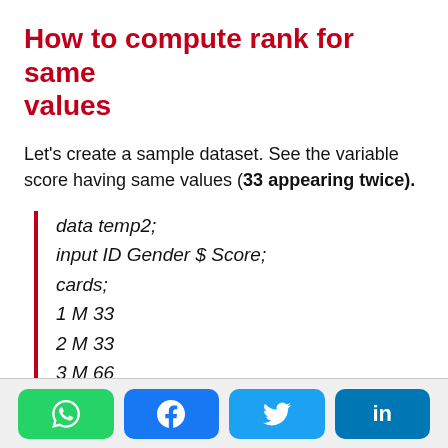How to compute rank for same values
Let's create a sample dataset. See the variable score having same values (33 appearing twice).
data temp2;
input ID Gender $ Score;
cards;
1 M 33
2 M 33
3 M 66